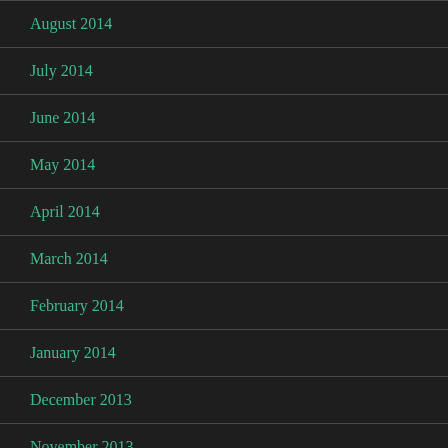August 2014
July 2014
June 2014
May 2014
April 2014
March 2014
February 2014
January 2014
December 2013
November 2013
September 2013